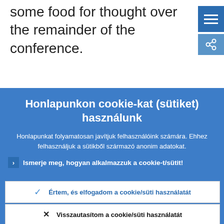some food for thought over the remainder of the conference.
[Figure (screenshot): Blue menu button (hamburger icon) in top right corner]
Honlapunkon cookie-kat (sütiket) használunk
Honlapunkat folyamatosan javítjuk felhasználóink számára. Ehhez felhasználjuk a sütikből származó anonim adatokat.
Ismerje meg, hogyan alkalmazzuk a cookie-t/sütit!
Értem, és elfogadom a cookie/süti használatát
Visszautasítom a cookie/süti használatát